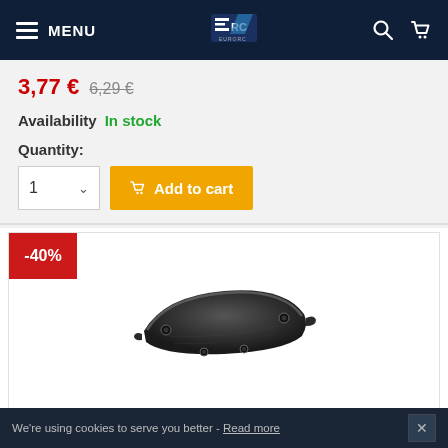MENU — EuroRC navigation bar
3,77 € 6,29 €
Availability In stock
Quantity:
1  Add to cart
[Figure (photo): Black plastic front bumper/brace part for Team Associated TC4 RC car, shown on white background with -40% discount badge]
Team Associated Front Bumper - TC4
We're using cookies to serve you better - Read more  ✕